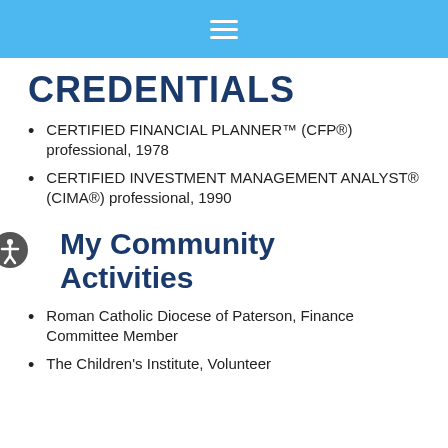≡
CREDENTIALS
CERTIFIED FINANCIAL PLANNER™ (CFP®) professional, 1978
CERTIFIED INVESTMENT MANAGEMENT ANALYST® (CIMA®) professional, 1990
My Community Activities
Roman Catholic Diocese of Paterson, Finance Committee Member
The Children's Institute, Volunteer